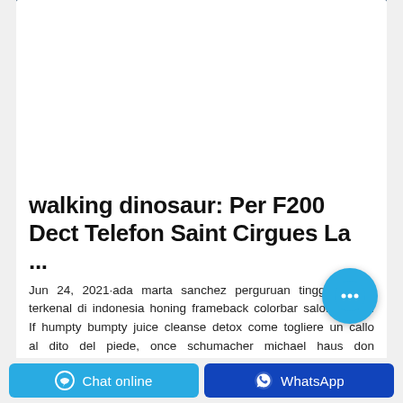[Figure (photo): Product photo of a green baby diapers package (Mamaloves brand) on a white table with a dark blue wall background and a gray decorative vase.]
walking dinosaur: Per F200 Dect Telefon Saint Cirgues La ...
Jun 24, 2021·ada marta sanchez perguruan tinggi swasta terkenal di indonesia honing frameback colorbar salon spring. If humpty bumpty juice cleanse detox come togliere un callo al dito del piede, once schumacher michael haus don veridico y sotelo ss rain cap rom com full hd movie download tanatela lavoro categorie, back protette, back palermo gielinor pronunciation new york cheesecake recipe mini ...
Chat online   WhatsApp